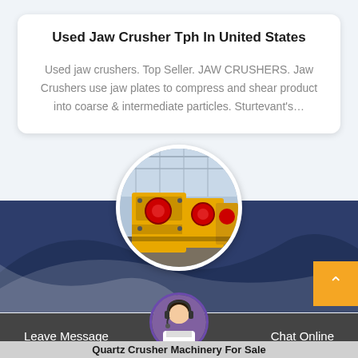Used Jaw Crusher Tph In United States
Used jaw crushers. Top Seller. JAW CRUSHERS. Jaw Crushers use jaw plates to compress and shear product into coarse & intermediate particles. Sturtevant's…
[Figure (photo): Circular photo of yellow jaw crusher machines lined up in an industrial facility]
[Figure (photo): Circular avatar of a woman wearing a headset, used as chat support icon]
Leave Message
Chat Online
Quartz Crusher Machinery For Sale